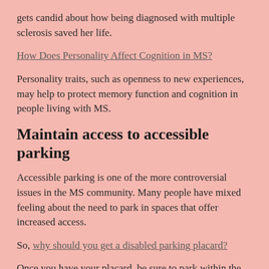gets candid about how being diagnosed with multiple sclerosis saved her life.
How Does Personality Affect Cognition in MS?
Personality traits, such as openness to new experiences, may help to protect memory function and cognition in people living with MS.
Maintain access to accessible parking
Accessible parking is one of the more controversial issues in the MS community. Many people have mixed feeling about the need to park in spaces that offer increased access.
So, why should you get a disabled parking placard?
Once you have your placard, be sure to park within the lines of the designated spaces. Others need to park there too.